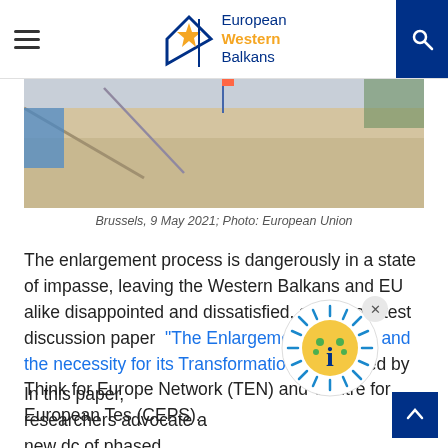European Western Balkans
[Figure (photo): Outdoor ground/pavement photo, Brussels, 9 May 2021]
Brussels, 9 May 2021; Photo: European Union
The enlargement process is dangerously in a state of impasse, leaving the Western Balkans and EU alike disappointed and dissatisfied, says the latest discussion paper “The Enlargement Impasse and the necessity for its Transformation”, published by Think for Europe Network (TEN) and Centre for European T... es (CEPS).
In this paper, researchers advocate a new d...c of phased membership in the EU, with ideas for progressive f... th... b... i... it... ti... l bi... ti... l...
[Figure (illustration): COVID-19 info bubble icon overlay with close button]